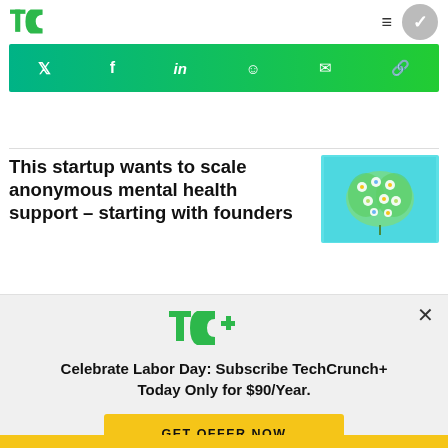TechCrunch
[Figure (infographic): Green social sharing bar with Twitter, Facebook, LinkedIn, Reddit, email, and link icons on green gradient background]
This startup wants to scale anonymous mental health support – starting with founders
[Figure (photo): Illustration of a brain made of colorful flowers on a light blue background]
[Figure (logo): TC+ TechCrunch Plus green logo]
Celebrate Labor Day: Subscribe TechCrunch+ Today Only for $90/Year.
GET OFFER NOW